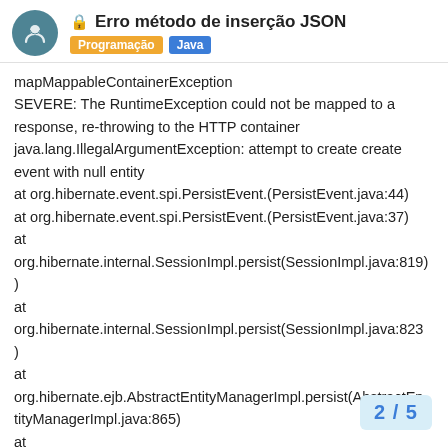Erro método de inserção JSON — Programação | Java
mapMappableContainerException
SEVERE: The RuntimeException could not be mapped to a response, re-throwing to the HTTP container
java.lang.IllegalArgumentException: attempt to create create event with null entity
at org.hibernate.event.spi.PersistEvent.(PersistEvent.java:44)
at org.hibernate.event.spi.PersistEvent.(PersistEvent.java:37)
at org.hibernate.internal.SessionImpl.persist(SessionImpl.java:819)
at org.hibernate.internal.SessionImpl.persist(SessionImpl.java:823)
at org.hibernate.ejb.AbstractEntityManagerImpl.persist(AbstractEntityManagerImpl.java:865)
at br.com.unip.menudroidweb.dao.DAOFacto...ava:59)
2 / 5